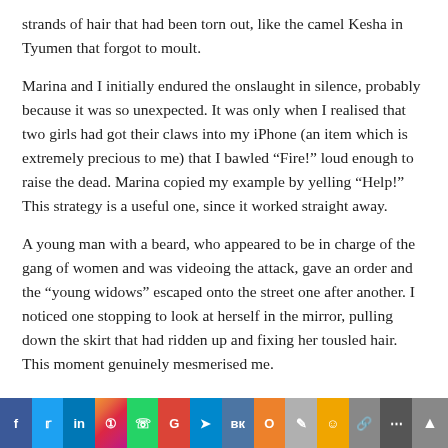strands of hair that had been torn out, like the camel Kesha in Tyumen that forgot to moult.
Marina and I initially endured the onslaught in silence, probably because it was so unexpected. It was only when I realised that two girls had got their claws into my iPhone (an item which is extremely precious to me) that I bawled “Fire!” loud enough to raise the dead. Marina copied my example by yelling “Help!” This strategy is a useful one, since it worked straight away.
A young man with a beard, who appeared to be in charge of the gang of women and was videoing the attack, gave an order and the “young widows” escaped onto the street one after another. I noticed one stopping to look at herself in the mirror, pulling down the skirt that had ridden up and fixing her tousled hair. This moment genuinely mesmerised me.